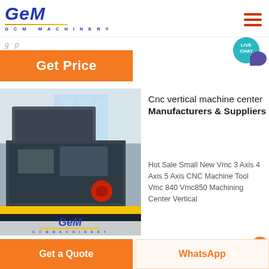[Figure (logo): GCM Machinery logo with stylized italic blue text and gold underline]
[Figure (other): Hamburger menu icon with three orange horizontal bars]
[Figure (other): Live Chat bubble icon in teal/cyan color]
Get Price
[Figure (photo): Industrial CNC machine in a large factory/warehouse setting with GCM Machinery logo overlay]
Cnc vertical machine center Manufacturers & Suppliers
Hot Sale Small New Vmc 3 Axis 4 Axis 5 Axis CNC Machine Tool Vmc 840 Vmc850 Machining Center Vertical
Milling CNC Machine Centre,Full Function CNC Vertical
Get a Quote
WhatsApp